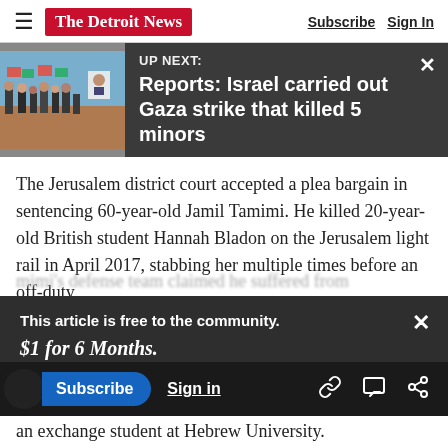The Detroit News — Subscribe | Sign In
[Figure (screenshot): UP NEXT banner with photo of protest/march and headline: Reports: Israel carried out Gaza strike that killed 5 minors]
The Jerusalem district court accepted a plea bargain in sentencing 60-year-old Jamil Tamimi. He killed 20-year-old British student Hannah Bladon on the Jerusalem light rail in April 2017, stabbing her multiple times before an off-duty
This article is free to the community. $1 for 6 Months. Subscribe now
mimi's defense team claimed he suffered from ... to kill ... the attack ...
an exchange student at Hebrew University.